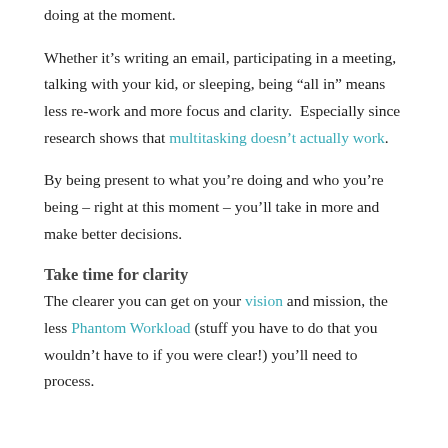doing at the moment.
Whether it’s writing an email, participating in a meeting, talking with your kid, or sleeping, being “all in” means less re-work and more focus and clarity.  Especially since research shows that multitasking doesn’t actually work.
By being present to what you’re doing and who you’re being – right at this moment – you’ll take in more and make better decisions.
Take time for clarity
The clearer you can get on your vision and mission, the less Phantom Workload (stuff you have to do that you wouldn’t have to if you were clear!) you’ll need to process.